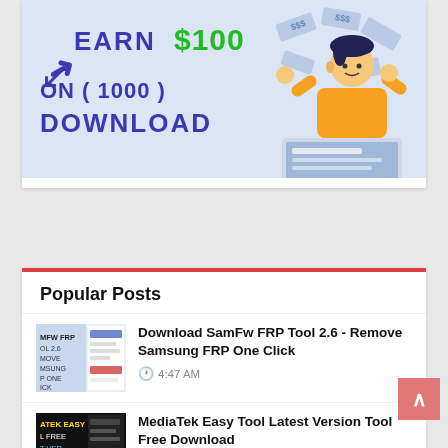[Figure (infographic): Advertisement banner showing 'EARN $100 ON (1000) DOWNLOAD' with a cartoon person celebrating at a laptop with money bills floating around]
Popular Posts
Download SamFw FRP Tool 2.6 - Remove Samsung FRP One Click
4:47 AM
MediaTek Easy Tool Latest Version Tool Free Download